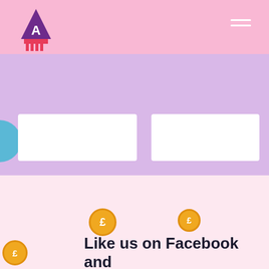[Figure (screenshot): Pink header bar with a stylized triangle/brush logo on the left and a hamburger menu icon (two white lines) on the right]
[Figure (illustration): Middle lavender/purple section with two white rectangular cards and a blue blob on the left edge]
[Figure (illustration): Bottom pink section with a white oval blob, a gray profile circle, three orange pound coin icons, a dashed arc line, and a faint silhouette figure]
Like us on Facebook and follow us on...